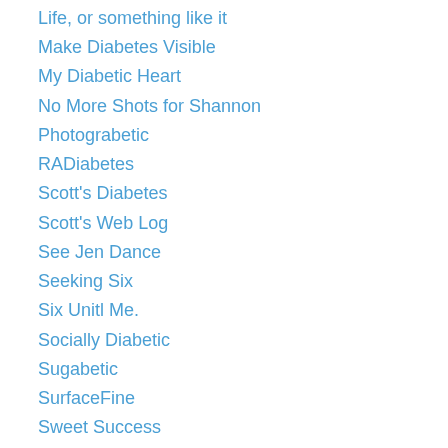Life, or something like it
Make Diabetes Visible
My Diabetic Heart
No More Shots for Shannon
Photograbetic
RADiabetes
Scott's Diabetes
Scott's Web Log
See Jen Dance
Seeking Six
Six Unitl Me.
Socially Diabetic
Sugabetic
SurfaceFine
Sweet Success
Sweet Zoo
Test Guess and Go
The Chronic Scholar
The Perfect D
The Type 2 Experience